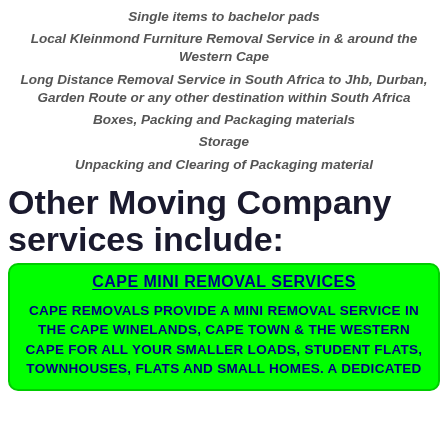Single items to bachelor pads
Local Kleinmond Furniture Removal Service in & around the Western Cape
Long Distance Removal Service in South Africa to Jhb, Durban, Garden Route or any other destination within South Africa
Boxes, Packing and Packaging materials
Storage
Unpacking and Clearing of Packaging material
Other Moving Company services include:
CAPE MINI REMOVAL SERVICES
CAPE REMOVALS PROVIDE A MINI REMOVAL SERVICE IN THE CAPE WINELANDS, CAPE TOWN & THE WESTERN CAPE FOR ALL YOUR SMALLER LOADS, STUDENT FLATS, TOWNHOUSES, FLATS AND SMALL HOMES. A DEDICATED